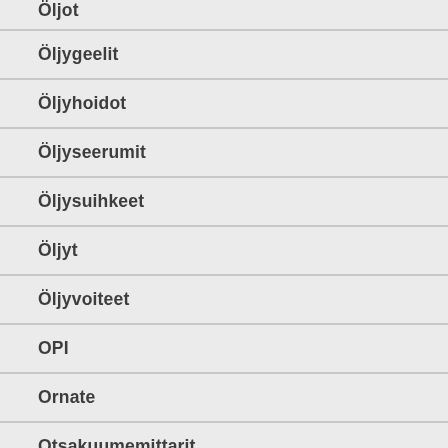Öljot
Öljygeelit
Öljyhoidot
Öljyseerumit
Öljysuihkeet
Öljyt
Öljyvoiteet
OPI
Ornate
Otsakuumemittarit